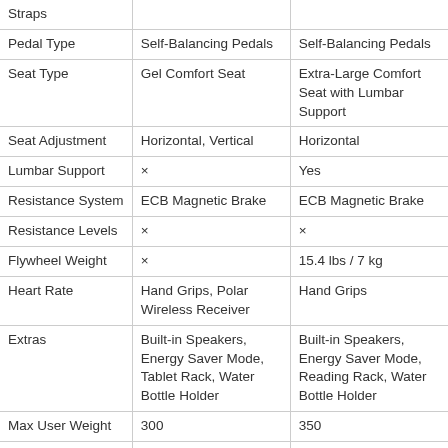| Feature | Product A | Product B |
| --- | --- | --- |
| Straps |  |  |
| Pedal Type | Self-Balancing Pedals | Self-Balancing Pedals |
| Seat Type | Gel Comfort Seat | Extra-Large Comfort Seat with Lumbar Support |
| Seat Adjustment | Horizontal, Vertical | Horizontal |
| Lumbar Support | × | Yes |
| Resistance System | ECB Magnetic Brake | ECB Magnetic Brake |
| Resistance Levels | × | × |
| Flywheel Weight | × | 15.4 lbs / 7 kg |
| Heart Rate | Hand Grips, Polar Wireless Receiver | Hand Grips |
| Extras | Built-in Speakers, Energy Saver Mode, Tablet Rack, Water Bottle Holder | Built-in Speakers, Energy Saver Mode, Reading Rack, Water Bottle Holder |
| Max User Weight | 300 | 350 |
| Weight | 77 lbs. | 99 lbs. |
| Assembled Dimensions (L x W x H) | 47’’ x 22’’ x 53’’ | 65" x 26" x 53" |
| Home Warranty - Frame | Lifetime | Lifetime |
| Home Warranty - |  |  |